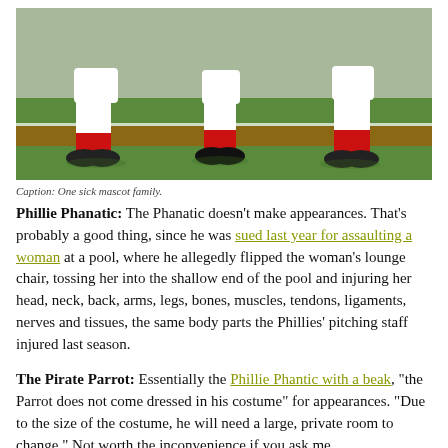[Figure (photo): Photograph of mascot figures (legs visible) in white uniforms with red socks and large black shoes on a baseball field with green grass and dirt infield.]
Caption: One sick mascot family.
Phillie Phanatic: The Phanatic doesn't make appearances. That's probably a good thing, since he was sued last year for assaulting a woman at a pool, where he allegedly flipped the woman's lounge chair, tossing her into the shallow end of the pool and injuring her head, neck, back, arms, legs, bones, muscles, tendons, ligaments, nerves and tissues, the same body parts the Phillies' pitching staff injured last season.
The Pirate Parrot: Essentially the Phillie Phantic with a beak, "the Parrot does not come dressed in his costume" for appearances. "Due to the size of the costume, he will need a large, private room to change." Not worth the inconvenience if you ask me.